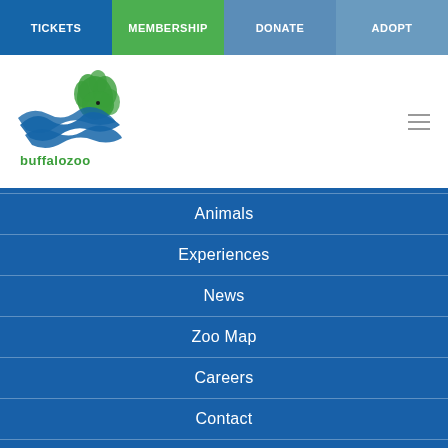TICKETS | MEMBERSHIP | DONATE | ADOPT
[Figure (logo): Buffalo Zoo logo with stylized animal and 'buffalozoo' text]
Animals
Experiences
News
Zoo Map
Careers
Contact
CONTACT
300 Parkside Ave.
Buffalo NY 14214